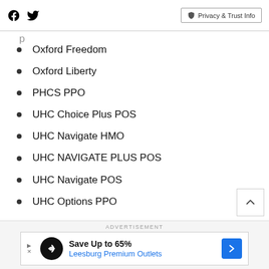Facebook Twitter | Privacy & Trust Info
Oxford Freedom
Oxford Liberty
PHCS PPO
UHC Choice Plus POS
UHC Navigate HMO
UHC NAVIGATE PLUS POS
UHC Navigate POS
UHC Options PPO
ADVERTISEMENT
Save Up to 65% Leesburg Premium Outlets